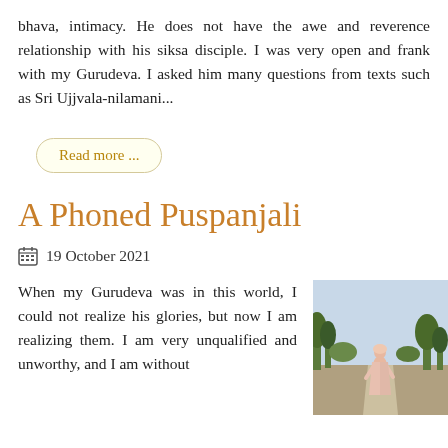bhava, intimacy. He does not have the awe and reverence relationship with his siksa disciple. I was very open and frank with my Gurudeva. I asked him many questions from texts such as Sri Ujjvala-nilamani...
Read more ...
A Phoned Puspanjali
19 October 2021
When my Gurudeva was in this world, I could not realize his glories, but now I am realizing them. I am very unqualified and unworthy, and I am without
[Figure (photo): A person dressed in pink/saffron robes walking on a dirt road away from the camera, with trees and sky in the background.]